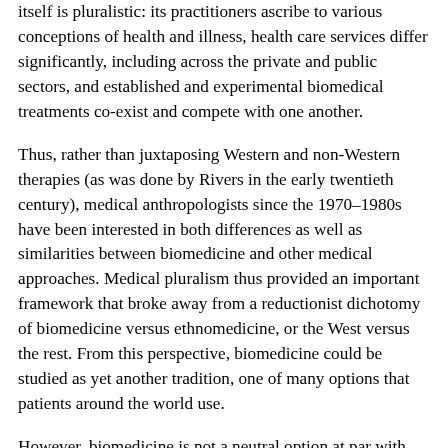itself is pluralistic: its practitioners ascribe to various conceptions of health and illness, health care services differ significantly, including across the private and public sectors, and established and experimental biomedical treatments co-exist and compete with one another.
Thus, rather than juxtaposing Western and non-Western therapies (as was done by Rivers in the early twentieth century), medical anthropologists since the 1970–1980s have been interested in both differences as well as similarities between biomedicine and other medical approaches. Medical pluralism thus provided an important framework that broke away from a reductionist dichotomy of biomedicine versus ethnomedicine, or the West versus the rest. From this perspective, biomedicine could be studied as yet another tradition, one of many options that patients around the world use.
However, biomedicine is not a neutral option at par with other medicines. Scholars of medical pluralism have highlighted its hierarchical nature: nonbiomedical traditions often occupy a subordinate position to hegemonic biomedicine in terms of social prestige, education, employment opportunities, and funding (Baer